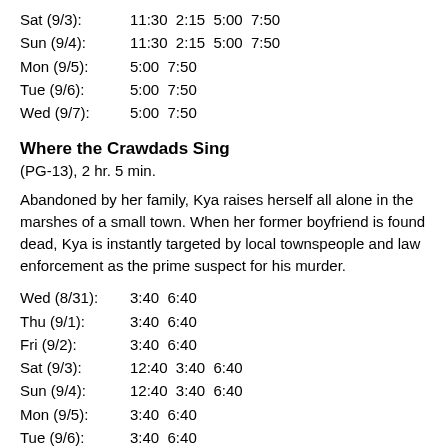Sat (9/3):   11:30  2:15  5:00  7:50
Sun (9/4):   11:30  2:15  5:00  7:50
Mon (9/5):   5:00  7:50
Tue (9/6):   5:00  7:50
Wed (9/7):   5:00  7:50
Where the Crawdads Sing
(PG-13), 2 hr. 5 min.
Abandoned by her family, Kya raises herself all alone in the marshes of a small town. When her former boyfriend is found dead, Kya is instantly targeted by local townspeople and law enforcement as the prime suspect for his murder.
Wed (8/31):   3:40  6:40
Thu (9/1):    3:40  6:40
Fri (9/2):    3:40  6:40
Sat (9/3):    12:40  3:40  6:40
Sun (9/4):    12:40  3:40  6:40
Mon (9/5):    3:40  6:40
Tue (9/6):    3:40  6:40
Wed (9/7):    3:40  6:40